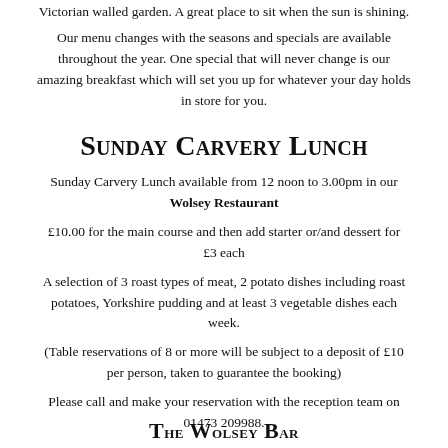Victorian walled garden. A great place to sit when the sun is shining.
Our menu changes with the seasons and specials are available throughout the year. One special that will never change is our amazing breakfast which will set you up for whatever your day holds in store for you.
Sunday Carvery Lunch
Sunday Carvery Lunch available from 12 noon to 3.00pm in our Wolsey Restaurant
£10.00 for the main course and then add starter or/and dessert for £3 each
A selection of 3 roast types of meat, 2 potato dishes including roast potatoes, Yorkshire pudding and at least 3 vegetable dishes each week.
(Table reservations of 8 or more will be subject to a deposit of £10 per person, taken to guarantee the booking)
Please call and make your reservation with the reception team on 01473 209988.
The Wolsey Bar